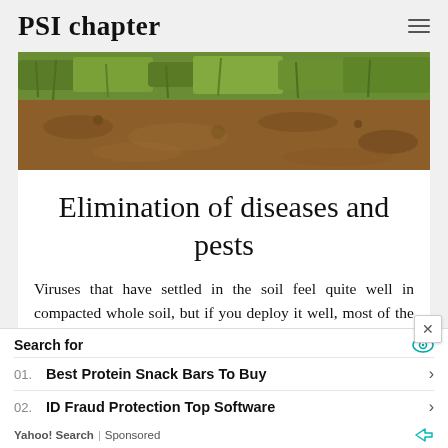PSI chapter
[Figure (photo): Close-up photo of grass and brown soil/dirt, showing green grass patches and exposed reddish-brown earth.]
Elimination of diseases and pests
Viruses that have settled in the soil feel quite well in compacted whole soil, but if you deploy it well, most of the pathogenic flora can die in the winter frost, since unbroken pieces of the dug up soil will
Search for
01. Best Protein Snack Bars To Buy
02. ID Fraud Protection Top Software
Yahoo! Search | Sponsored